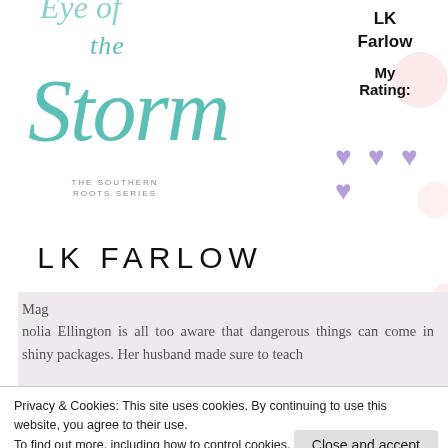[Figure (illustration): Book cover for 'Eye of the Storm' by LK Farlow – Southern Roots Series. Teal/mint cursive script title over a white background with decorative script lettering.]
LK Farlow
My Rating:
[Figure (illustration): Four purple heart emojis arranged as three in a row and one below, representing a rating of 3.5 out of 5 hearts.]
Magnolia Ellington is all too aware that dangerous things can come in shiny packages. Her husband made sure to teach
Privacy & Cookies: This site uses cookies. By continuing to use this website, you agree to their use.
To find out more, including how to control cookies, see here: Cookie Policy
Close and accept
Southern town of Dogwood—and in the arms